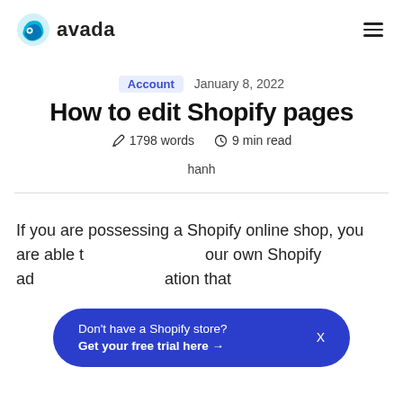[Figure (logo): Avada logo with blue cloud icon and 'avada' text]
Account  January 8, 2022
How to edit Shopify pages
✏ 1798 words  🕐 9 min read
hanh
If you are possessing a Shopify online shop, you are able to [obscured] your own Shopify ad[obscured]ation that
Don't have a Shopify store? Get your free trial here →  X